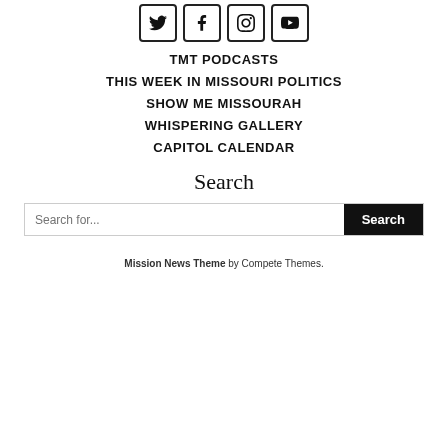[Figure (other): Four social media icons in rounded square boxes: Twitter bird, Facebook f, Instagram camera, YouTube play button]
TMT PODCASTS
THIS WEEK IN MISSOURI POLITICS
SHOW ME MISSOURAH
WHISPERING GALLERY
CAPITOL CALENDAR
Search
Search for...
Mission News Theme by Compete Themes.